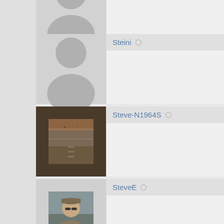[Figure (screenshot): User listing page from a web forum/community showing user avatars and usernames. Users shown: Steini, Steve-N1964S, SteveE, stid2677, Stolbrother, Superbushpacer, supercub83a. Some have photo avatars (Steve-N1964S shows aerial runway photo, SteveE shows man selfie, Stolbrother shows yellow airplane on tarmac), others have placeholder silhouette avatars. Each entry shows username with offline status circle indicator.]